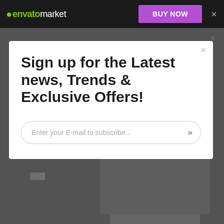[Figure (screenshot): Envato Market website header navigation bar with logo, BUY NOW button, and close X button on dark background]
[Figure (screenshot): Modal popup overlay on darkened background showing newsletter signup with large bold heading 'Sign up for the Latest news, Trends & Exclusive Offers!' and email input field with placeholder 'Enter your E-mail to subscribe...' and double-arrow submit button]
[Figure (screenshot): Partially visible background page content below the modal showing 'apr' text label and a product image area with PlayStation console/controller]